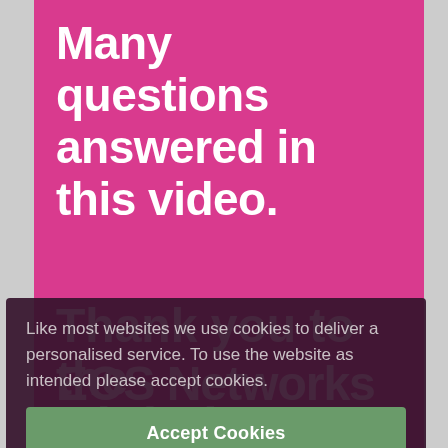Many questions answered in this video.
Thank you to the EOS Networks UK & Global Professionals.
Like most websites we use cookies to deliver a personalised service. To use the website as intended please accept cookies.
Accept Cookies